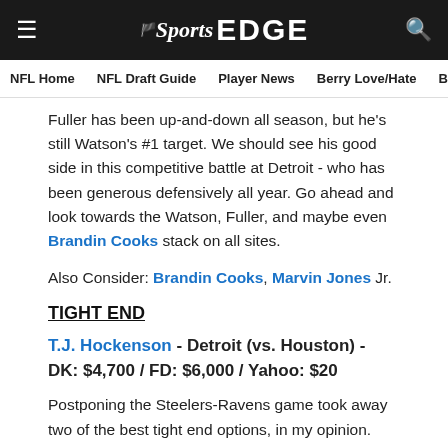NBC Sports EDGE — navigation header
NFL Home | NFL Draft Guide | Player News | Berry Love/Hate | Ber...
Fuller has been up-and-down all season, but he's still Watson's #1 target. We should see his good side in this competitive battle at Detroit - who has been generous defensively all year. Go ahead and look towards the Watson, Fuller, and maybe even Brandin Cooks stack on all sites.
Also Consider: Brandin Cooks, Marvin Jones Jr.
TIGHT END
T.J. Hockenson - Detroit (vs. Houston) - DK: $4,700 / FD: $6,000 / Yahoo: $20
Postponing the Steelers-Ravens game took away two of the best tight end options, in my opinion. Now the position is more of a filler spot than a priority.
Hockenson is the best lift of this uninspiring group, and